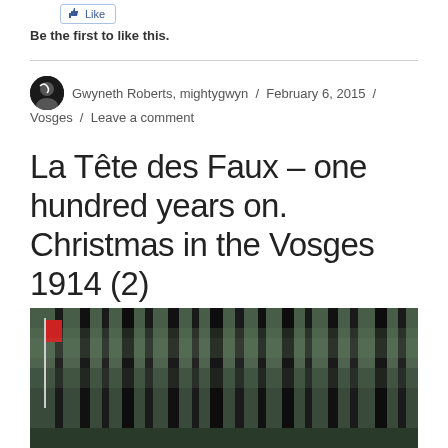[Figure (other): Like button UI element]
Be the first to like this.
Gwyneth Roberts, mightygwyn / February 6, 2015 / Vosges / Leave a comment
La Tête des Faux – one hundred years on. Christmas in the Vosges 1914 (2)
[Figure (photo): Forest of tall dark conifer trees with a flag visible on the left side, black and white/desaturated photo]